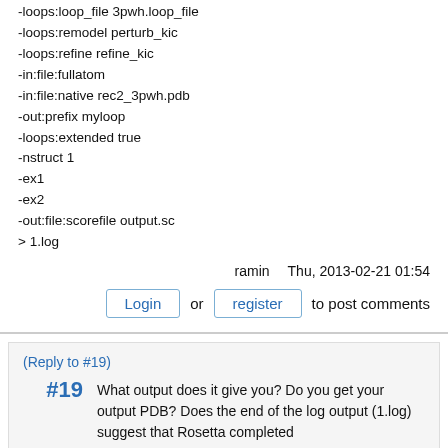-loops:loop_file 3pwh.loop_file
-loops:remodel perturb_kic
-loops:refine refine_kic
-in:file:fullatom
-in:file:native rec2_3pwh.pdb
-out:prefix myloop
-loops:extended true
-nstruct 1
-ex1
-ex2
-out:file:scorefile output.sc
> 1.log
ramin   Thu, 2013-02-21 01:54
Login or register to post comments
(Reply to #19)
#19  What output does it give you? Do you get your output PDB? Does the end of the log output (1.log) suggest that Rosetta completed